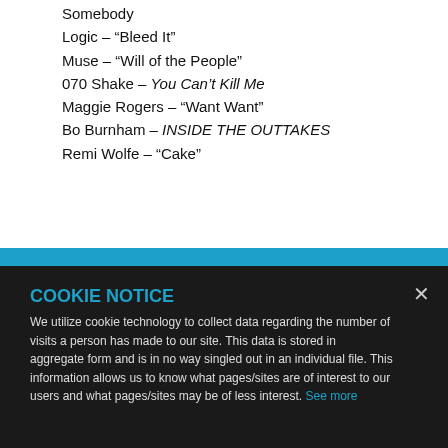Somebody
Logic – “Bleed It”
Muse – “Will of the People”
070 Shake – You Can’t Kill Me
Maggie Rogers – “Want Want”
Bo Burnham – INSIDE THE OUTTAKES
Remi Wolfe – “Cake”
COOKIE NOTICE
We utilize cookie technology to collect data regarding the number of visits a person has made to our site. This data is stored in aggregate form and is in no way singled out in an individual file. This information allows us to know what pages/sites are of interest to our users and what pages/sites may be of less interest. See more